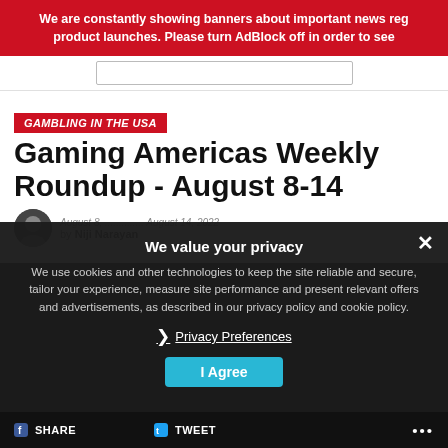We are constantly showing banners about important news reg... product launches. Please turn AdBlock off in order to see...
GAMBLING IN THE USA
Gaming Americas Weekly Roundup - August 8-14
by Niji Narayan...
We value your privacy
We use cookies and other technologies to keep the site reliable and secure, tailor your experience, measure site performance and present relevant offers and advertisements, as described in our privacy policy and cookie policy.
❯ Privacy Preferences
I Agree
SHARE  TWEET  ...